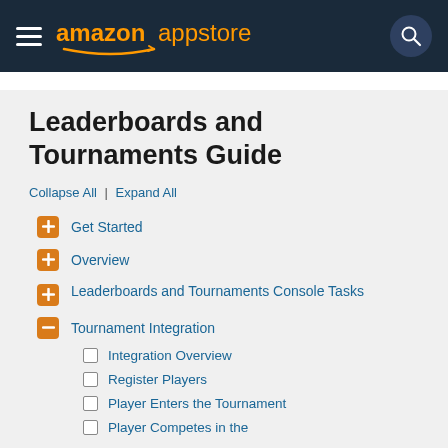amazon appstore
Leaderboards and Tournaments Guide
Collapse All | Expand All
Get Started
Overview
Leaderboards and Tournaments Console Tasks
Tournament Integration
Integration Overview
Register Players
Player Enters the Tournament
Player Competes in the